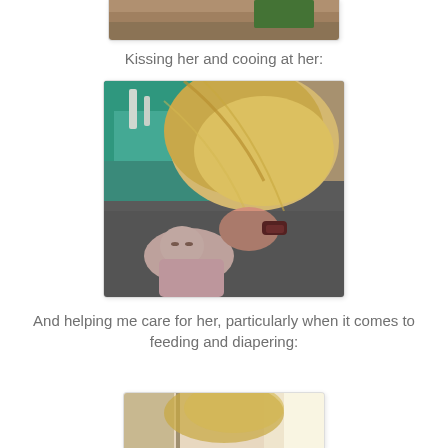[Figure (photo): Top partial photo showing a room/furniture scene, partially cropped]
Kissing her and cooing at her:
[Figure (photo): Child with blonde hair leaning over and kissing/cooing at a baby doll lying on a surface with teal/green fabric nearby]
And helping me care for her, particularly when it comes to feeding and diapering:
[Figure (photo): Partial photo at bottom showing a child with hair and a door/wall in background, cropped]